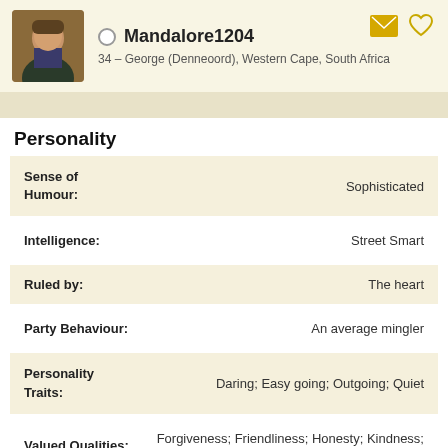Mandalore1204
34 – George (Denneoord), Western Cape, South Africa
Personality
| Trait | Value |
| --- | --- |
| Sense of Humour: | Sophisticated |
| Intelligence: | Street Smart |
| Ruled by: | The heart |
| Party Behaviour: | An average mingler |
| Personality Traits: | Daring; Easy going; Outgoing; Quiet |
| Valued Qualities: | Forgiveness; Friendliness; Honesty; Kindness; Mercy; Patience |